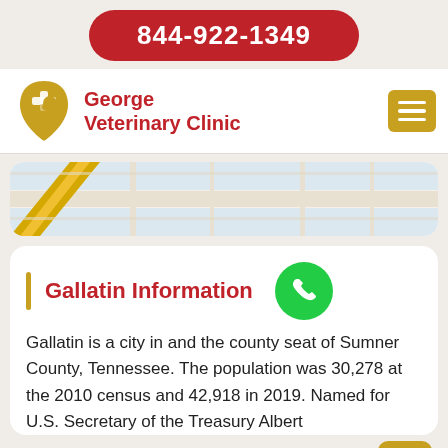844-922-1349
George Veterinary Clinic
[Figure (map): Partial street map showing a road intersection with a yellow diagonal road]
Gallatin Information
Gallatin is a city in and the county seat of Sumner County, Tennessee. The population was 30,278 at the 2010 census and 42,918 in 2019. Named for U.S. Secretary of the Treasury Albert